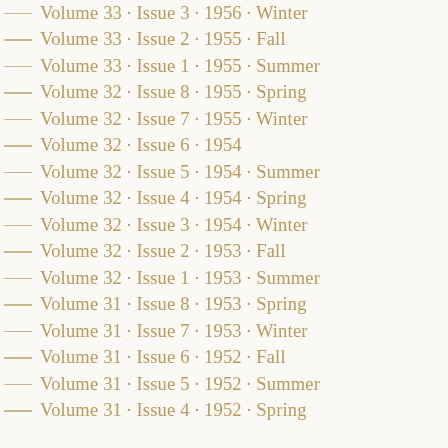Volume 33 · Issue 3 · 1956 · Winter
Volume 33 · Issue 2 · 1955 · Fall
Volume 33 · Issue 1 · 1955 · Summer
Volume 32 · Issue 8 · 1955 · Spring
Volume 32 · Issue 7 · 1955 · Winter
Volume 32 · Issue 6 · 1954
Volume 32 · Issue 5 · 1954 · Summer
Volume 32 · Issue 4 · 1954 · Spring
Volume 32 · Issue 3 · 1954 · Winter
Volume 32 · Issue 2 · 1953 · Fall
Volume 32 · Issue 1 · 1953 · Summer
Volume 31 · Issue 8 · 1953 · Spring
Volume 31 · Issue 7 · 1953 · Winter
Volume 31 · Issue 6 · 1952 · Fall
Volume 31 · Issue 5 · 1952 · Summer
Volume 31 · Issue 4 · 1952 · Spring